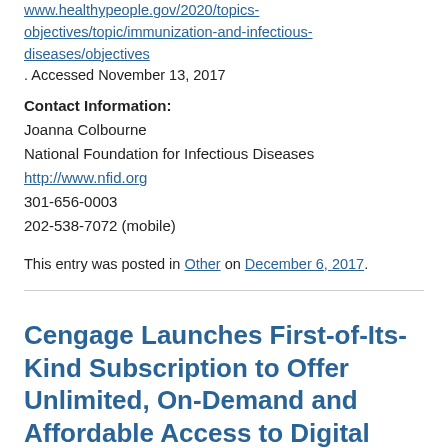www.healthypeople.gov/2020/topics-objectives/topic/immunization-and-infectious-diseases/objectives. Accessed November 13, 2017
Contact Information:
Joanna Colbourne
National Foundation for Infectious Diseases
http://www.nfid.org
301-656-0003
202-538-7072 (mobile)
This entry was posted in Other on December 6, 2017.
Cengage Launches First-of-Its-Kind Subscription to Offer Unlimited, On-Demand and Affordable Access to Digital